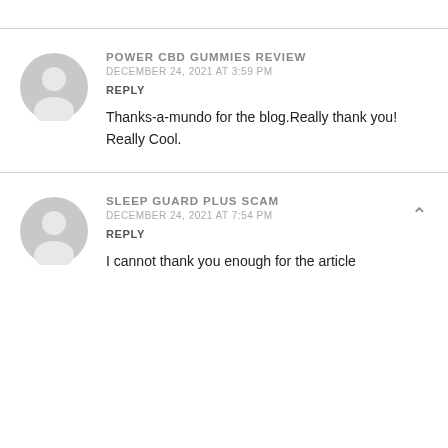POWER CBD GUMMIES REVIEW
DECEMBER 24, 2021 AT 3:59 PM
REPLY
Thanks-a-mundo for the blog.Really thank you! Really Cool.
SLEEP GUARD PLUS SCAM
DECEMBER 24, 2021 AT 7:54 PM
REPLY
I cannot thank you enough for the article